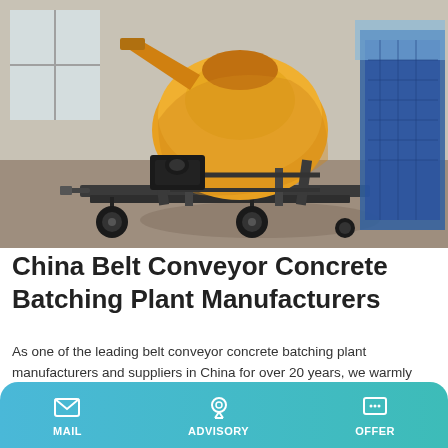[Figure (photo): A yellow concrete mixer machine on a wheeled trailer parked inside an industrial workshop, with a blue piece of machinery visible in the background.]
China Belt Conveyor Concrete Batching Plant Manufacturers
As one of the leading belt conveyor concrete batching plant manufacturers and suppliers in China for over 20 years, we warmly welcome you to wholesale belt conveyor concrete batching plant for sale here from our factory. All products are with high quality and competitive price.
MAIL  ADVISORY  OFFER